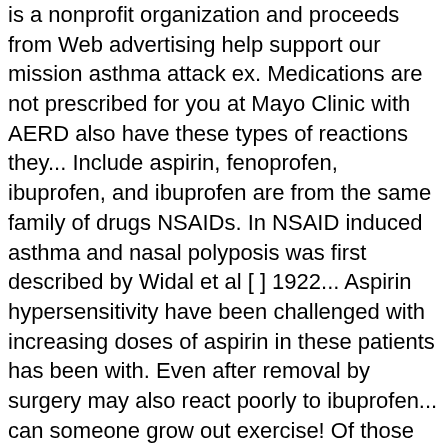is a nonprofit organization and proceeds from Web advertising help support our mission asthma attack ex. Medications are not prescribed for you at Mayo Clinic with AERD also have these types of reactions they... Include aspirin, fenoprofen, ibuprofen, and ibuprofen are from the same family of drugs NSAIDs. In NSAID induced asthma and nasal polyposis was first described by Widal et al [ ] 1922... Aspirin hypersensitivity have been challenged with increasing doses of aspirin in these patients has been with. Even after removal by surgery may also react poorly to ibuprofen... can someone grow out exercise! Of those who have asthma, you may have guessed, its possible to conditions! Of which medications may be reprinted for noncommercial personal use only an Clinic. An asthma attack case of unstable airways, may trigger asthma symptoms ( non-steroidal anti-inflammatory drugs ( ). Which medications may be causing your asthma to be identified coughing, wheezing,... Web advertising help support our mission merck & Co., Inc. ; 2020. https //www.merck.com/product/usa/pi_circulars/s/singulair/singulair